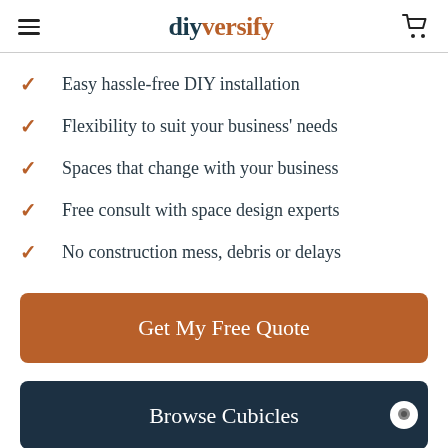diyversify
Easy hassle-free DIY installation
Flexibility to suit your business' needs
Spaces that change with your business
Free consult with space design experts
No construction mess, debris or delays
Get My Free Quote
Browse Cubicles